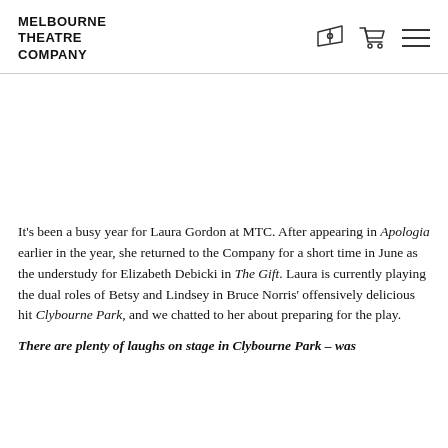MELBOURNE THEATRE COMPANY
[Figure (other): Large image area (appears blank/white in this crop) taking up the middle portion of the page]
It’s been a busy year for Laura Gordon at MTC. After appearing in Apologia earlier in the year, she returned to the Company for a short time in June as the understudy for Elizabeth Debicki in The Gift. Laura is currently playing the dual roles of Betsy and Lindsey in Bruce Norris’ offensively delicious hit Clybourne Park, and we chatted to her about preparing for the play.
There are plenty of laughs on stage in Clybourne Park – was